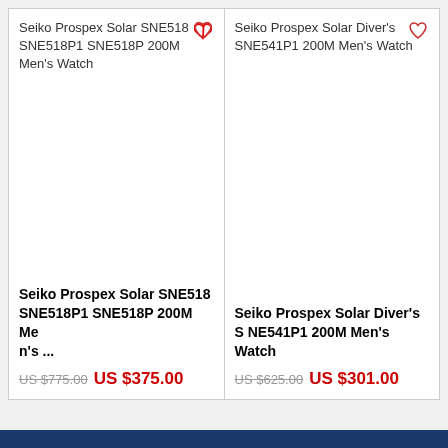[Figure (screenshot): Product listing card for Seiko Prospex Solar SNE518 SNE518P1 SNE518P 200M Men's Watch showing broken image placeholder and heart wishlist icon]
Seiko Prospex Solar SNE518 SNE518P1 SNE518P 200M Men's Watch
US $775.00  US $375.00
[Figure (screenshot): Product listing card for Seiko Prospex Solar Diver's SNE541P1 200M Men's Watch showing broken image placeholder and heart wishlist icon]
Seiko Prospex Solar Diver's SNE541P1 200M Men's Watch
US $625.00  US $301.00